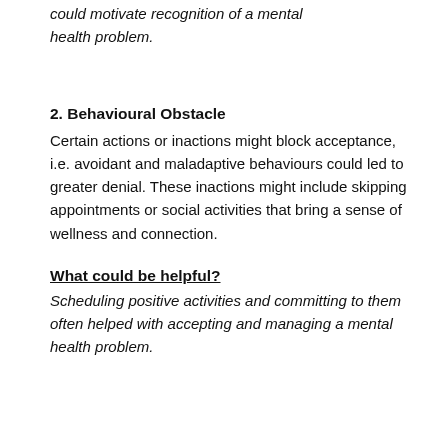could motivate recognition of a mental health problem.
2. Behavioural Obstacle
Certain actions or inactions might block acceptance, i.e. avoidant and maladaptive behaviours could led to greater denial. These inactions might include skipping appointments or social activities that bring a sense of wellness and connection.
What could be helpful?
Scheduling positive activities and committing to them often helped with accepting and managing a mental health problem.